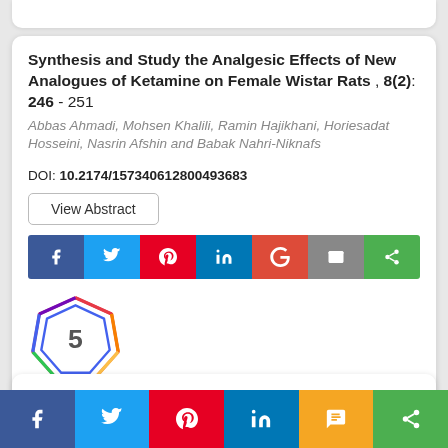Synthesis and Study the Analgesic Effects of New Analogues of Ketamine on Female Wistar Rats , 8(2): 246 - 251
Abbas Ahmadi, Mohsen Khalili, Ramin Hajikhani, Horiesadat Hosseini, Nasrin Afshin and Babak Nahri-Niknafs
DOI: 10.2174/157340612800493683
View Abstract
[Figure (other): Polygon/citation badge showing number 5]
2D Chemometrics Analyses of Tetrahydroquinoline and Ethylenediamine Derivatives with Antimalarial Activity , 8(2): 252